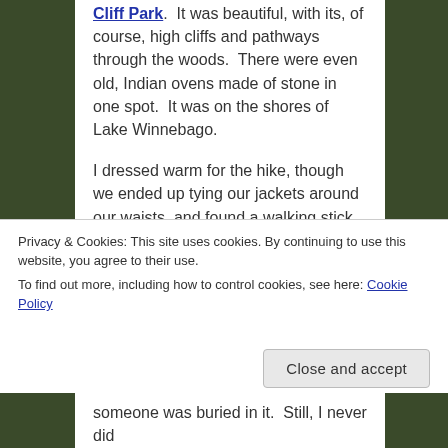Cliff Park. It was beautiful, with its, of course, high cliffs and pathways through the woods. There were even old, Indian ovens made of stone in one spot. It was on the shores of Lake Winnebago.

I dressed warm for the hike, though we ended up tying our jackets around our waists, and found a walking stick along the way.

One of the trails had a small mound, too small to look like an Indian burial mound (like others at High Cliff Park), so we weren't sure if it was
Privacy & Cookies: This site uses cookies. By continuing to use this website, you agree to their use.
To find out more, including how to control cookies, see here: Cookie Policy
Close and accept
someone was buried in it. Still, I never did